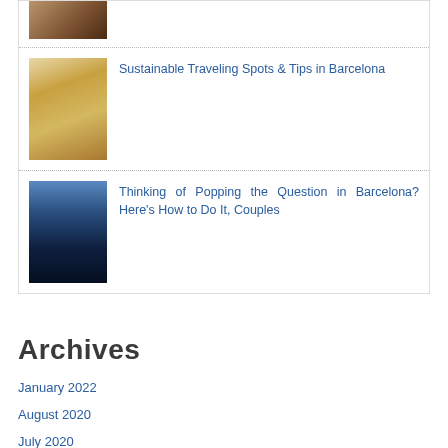[Figure (photo): Top cropped photo of a warm interior scene, partially visible]
[Figure (photo): Woman in yellow top in an outdoor Barcelona setting]
Sustainable Traveling Spots & Tips in Barcelona
[Figure (photo): Silhouette of a couple at sunset]
Thinking of Popping the Question in Barcelona? Here's How to Do It, Couples
Archives
January 2022
August 2020
July 2020
June 2020
May 2020